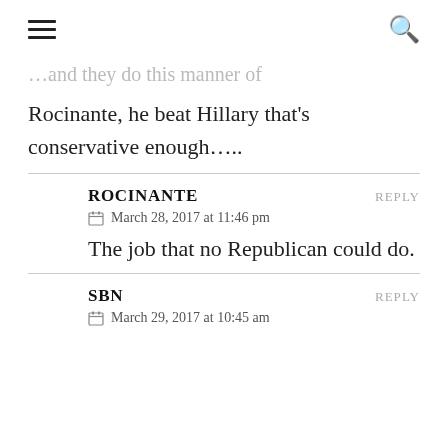☰  🔍
…and they do this manner of Rocinante, he beat Hillary that's conservative enough…..
ROCINANTE — REPLY
March 28, 2017 at 11:46 pm
The job that no Republican could do.
SBN — REPLY
March 29, 2017 at 10:45 am